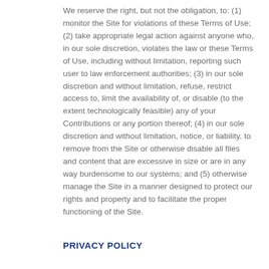We reserve the right, but not the obligation, to: (1) monitor the Site for violations of these Terms of Use; (2) take appropriate legal action against anyone who, in our sole discretion, violates the law or these Terms of Use, including without limitation, reporting such user to law enforcement authorities; (3) in our sole discretion and without limitation, refuse, restrict access to, limit the availability of, or disable (to the extent technologically feasible) any of your Contributions or any portion thereof; (4) in our sole discretion and without limitation, notice, or liability, to remove from the Site or otherwise disable all files and content that are excessive in size or are in any way burdensome to our systems; and (5) otherwise manage the Site in a manner designed to protect our rights and property and to facilitate the proper functioning of the Site.
PRIVACY POLICY